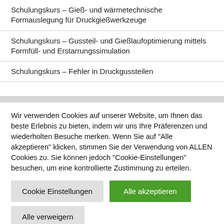Schulungskurs – Gieß- und wärmetechnische Formauslegung für Druckgießwerkzeuge
Schulungskurs – Gussteil- und Gießlaufoptimierung mittels Formfüll- und Erstarrungssimulation
Schulungskurs – Fehler in Druckgussteilen
Wir verwenden Cookies auf unserer Website, um Ihnen das beste Erlebnis zu bieten, indem wir uns Ihre Präferenzen und wiederholten Besuche merken. Wenn Sie auf "Alle akzeptieren" klicken, stimmen Sie der Verwendung von ALLEN Cookies zu. Sie können jedoch "Cookie-Einstellungen" besuchen, um eine kontrollierte Zustimmung zu erteilen.
Cookie Einstellungen
Alle akzeptieren
Alle verweigern